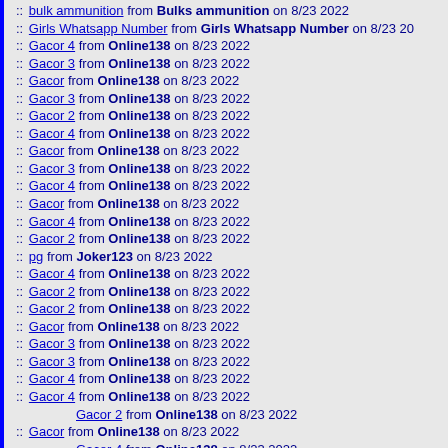:: bulk ammunition from Bulks ammunition on 8/23 2022
:: Girls Whatsapp Number from Girls Whatsapp Number on 8/23 20
:: Gacor 4 from Online138 on 8/23 2022
:: Gacor 3 from Online138 on 8/23 2022
:: Gacor from Online138 on 8/23 2022
:: Gacor 3 from Online138 on 8/23 2022
:: Gacor 2 from Online138 on 8/23 2022
:: Gacor 4 from Online138 on 8/23 2022
:: Gacor from Online138 on 8/23 2022
:: Gacor 3 from Online138 on 8/23 2022
:: Gacor 4 from Online138 on 8/23 2022
:: Gacor from Online138 on 8/23 2022
:: Gacor 4 from Online138 on 8/23 2022
:: Gacor 2 from Online138 on 8/23 2022
:: pg from Joker123 on 8/23 2022
:: Gacor 4 from Online138 on 8/23 2022
:: Gacor 2 from Online138 on 8/23 2022
:: Gacor 2 from Online138 on 8/23 2022
:: Gacor from Online138 on 8/23 2022
:: Gacor 3 from Online138 on 8/23 2022
:: Gacor 3 from Online138 on 8/23 2022
:: Gacor 4 from Online138 on 8/23 2022
:: Gacor 4 from Online138 on 8/23 2022
Gacor 2 from Online138 on 8/23 2022
:: Gacor from Online138 on 8/23 2022
Gacor 4 from Online138 on 8/23 2022
:: Gacor 4 from Online138 on 8/23 2022
Gacor 2 from Online138 on 8/23 2022
:: Gacor from Online138 on 8/23 2022
:: Gacor 3 from Online138 on 8/23 2022